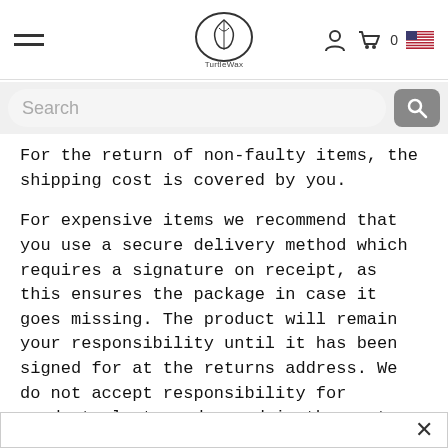TurtleWax website header with hamburger menu, TurtleWax logo, user icon, cart icon with 0 items, and US flag icon
[Figure (screenshot): Search bar with placeholder text 'Search' and a grey search button icon on the right]
For the return of non-faulty items, the shipping cost is covered by you.
For expensive items we recommend that you use a secure delivery method which requires a signature on receipt, as this ensures the package in case it goes missing. The product will remain your responsibility until it has been signed for at the returns address. We do not accept responsibility for products lost or damaged in the post. Your package must include the full name on the order and the invoice number. Once the item has been received at our office you will receive an email confirming receipt. After receipt of your goods, we shall inspect the condition of item and as appropriate issue a